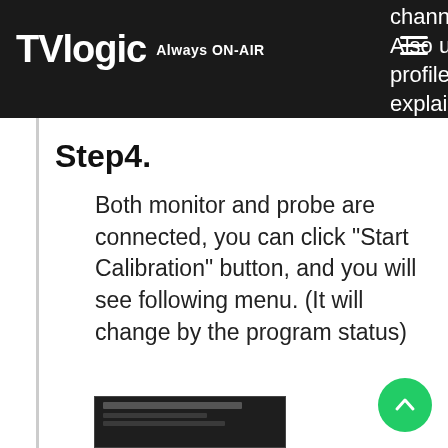TVLogic Always ON-AIR
channel. Also use the WB profile, we will explain later.
Step4.
Both monitor and probe are connected, you can click "Start Calibration" button, and you will see following menu. (It will change by the program status)
[Figure (screenshot): Screenshot of Start Calibration menu dialog]